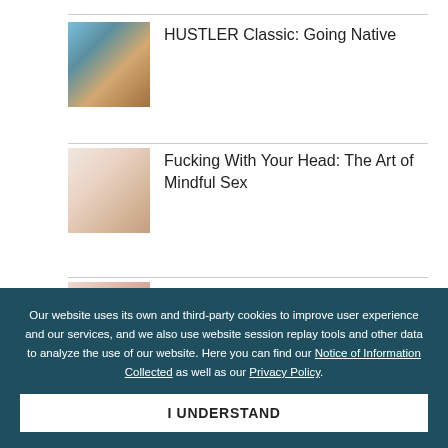[Figure (photo): Thumbnail image for HUSTLER Classic: Going Native article]
HUSTLER Classic: Going Native
[Figure (photo): Thumbnail image for Fucking With Your Head: The Art of Mindful Sex article]
Fucking With Your Head: The Art of Mindful Sex
[Figure (photo): Thumbnail image for HUSTLER Classic: Rubber the article]
HUSTLER Classic: Rubber the
Our website uses its own and third-party cookies to improve user experience and our services, and we also use website session replay tools and other data to analyze the use of our website. Here you can find our Notice of Information Collected as well as our Privacy Policy.
I UNDERSTAND